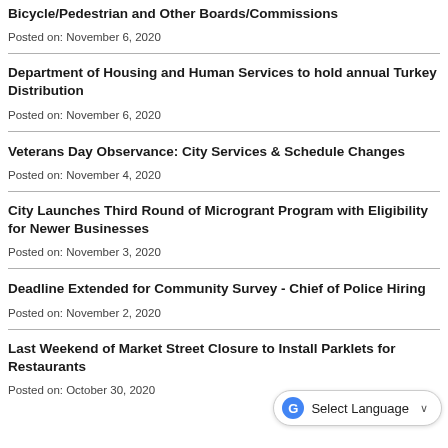Bicycle/Pedestrian and Other Boards/Commissions
Posted on: November 6, 2020
Department of Housing and Human Services to hold annual Turkey Distribution
Posted on: November 6, 2020
Veterans Day Observance: City Services & Schedule Changes
Posted on: November 4, 2020
City Launches Third Round of Microgrant Program with Eligibility for Newer Businesses
Posted on: November 3, 2020
Deadline Extended for Community Survey - Chief of Police Hiring
Posted on: November 2, 2020
Last Weekend of Market Street Closure to Install Parklets for Restaurants
Posted on: October 30, 2020